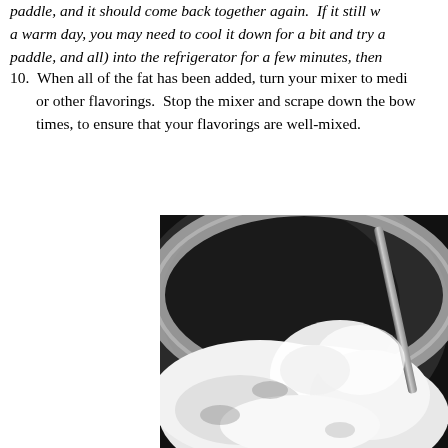paddle, and it should come back together again.  If it still w... a warm day, you may need to cool it down for a bit and try a... paddle, and all) into the refrigerator for a few minutes, then...
10. When all of the fat has been added, turn your mixer to medi... or other flavorings.  Stop the mixer and scrape down the bow... times, to ensure that your flavorings are well-mixed.
[Figure (photo): Black and white close-up photograph of a stand mixer bowl containing whipped white creamy mixture (likely frosting or buttercream), with the mixer paddle visible.]